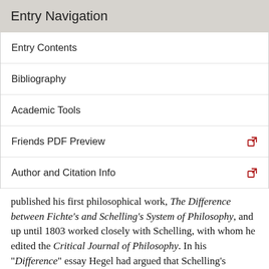Entry Navigation
Entry Contents
Bibliography
Academic Tools
Friends PDF Preview
Author and Citation Info
published his first philosophical work, The Difference between Fichte's and Schelling's System of Philosophy, and up until 1803 worked closely with Schelling, with whom he edited the Critical Journal of Philosophy. In his “Difference” essay Hegel had argued that Schelling's approach succeeded where Fichte's failed in the project of systematising and thereby completing Kant's transcendental idealism, and on the basis of this type of advocacy came to be dogged for many years by the reputation of being a “mere” follower of Schelling (who was five years his junior).